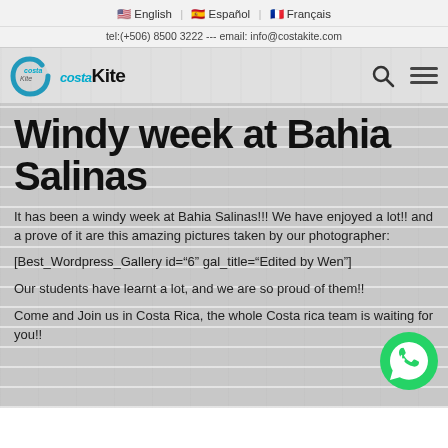🇺🇸 English | 🇪🇸 Español | 🇫🇷 Français
tel:(+506) 8500 3222 --- email: info@costakite.com
Windy week at Bahia Salinas
It has been a windy week at Bahia Salinas!!! We have enjoyed a lot!! and a prove of it are this amazing pictures taken by our photographer:
[Best_Wordpress_Gallery id="6" gal_title="Edited by Wen"]
Our students have learnt a lot, and we are so proud of them!!
Come and Join us in Costa Rica, the whole Costa rica team is waiting for you!!